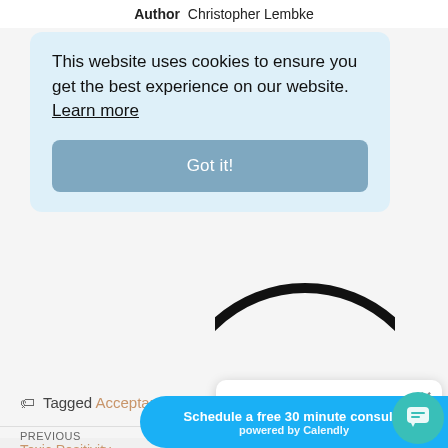Author  Christopher Lembke
[Figure (screenshot): Cookie consent popup overlay with light blue background containing text 'This website uses cookies to ensure you get the best experience on our website. Learn more' and a 'Got it!' button]
[Figure (screenshot): Partial black circle/donut chart visible in the background behind the cookie popup]
Tagged Acceptanc
[Figure (screenshot): Chat widget popup with avatar icon, close X button, and text 'Got any questions? I'm happy to help.']
PREVIOUS
NEXT
Toxic Positivity
Schedule a free 30 minute consulta powered by Calendly